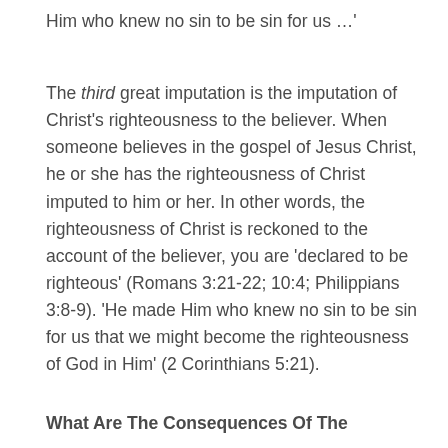Him who knew no sin to be sin for us …'
The third great imputation is the imputation of Christ's righteousness to the believer. When someone believes in the gospel of Jesus Christ, he or she has the righteousness of Christ imputed to him or her. In other words, the righteousness of Christ is reckoned to the account of the believer, you are 'declared to be righteous' (Romans 3:21-22; 10:4; Philippians 3:8-9). 'He made Him who knew no sin to be sin for us that we might become the righteousness of God in Him' (2 Corinthians 5:21).
What Are The Consequences Of The